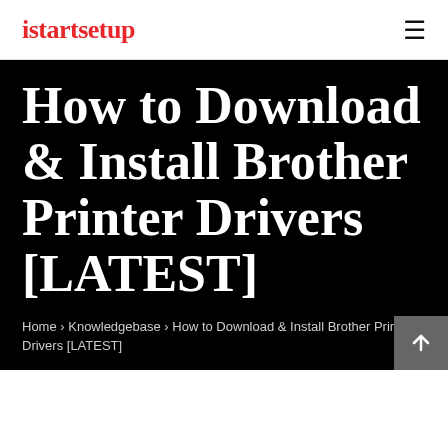istartsetup
How to Download & Install Brother Printer Drivers [LATEST]
Home › Knowledgebase › How to Download & Install Brother Printer Drivers [LATEST]